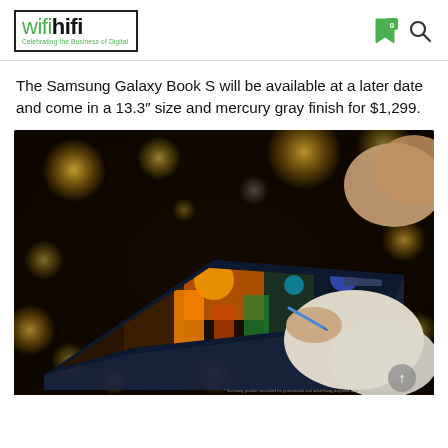wifihifi — Celebrating the Business of Digital
The Samsung Galaxy Book S will be available at a later date and come in a 13.3″ size and mercury gray finish for $1,299.
[Figure (photo): A person holding a Samsung Galaxy Book S laptop/tablet in tent mode, drawing on the screen with a stylus. The screen displays a colorful digital painting of a night street scene. The background is dark with warm bokeh light orbs.]